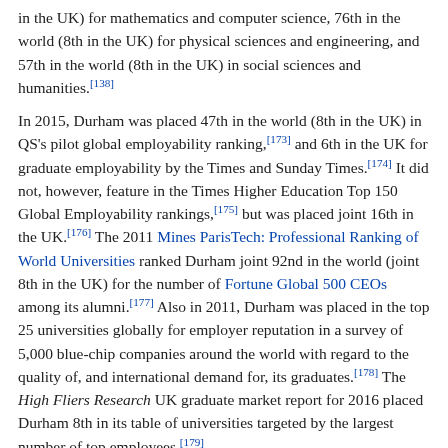in the UK) for mathematics and computer science, 76th in the world (8th in the UK) for physical sciences and engineering, and 57th in the world (8th in the UK) in social sciences and humanities.[138]
In 2015, Durham was placed 47th in the world (8th in the UK) in QS's pilot global employability ranking,[173] and 6th in the UK for graduate employability by the Times and Sunday Times.[174] It did not, however, feature in the Times Higher Education Top 150 Global Employability rankings,[175] but was placed joint 16th in the UK.[176] The 2011 Mines ParisTech: Professional Ranking of World Universities ranked Durham joint 92nd in the world (joint 8th in the UK) for the number of Fortune Global 500 CEOs among its alumni.[177] Also in 2011, Durham was placed in the top 25 universities globally for employer reputation in a survey of 5,000 blue-chip companies around the world with regard to the quality of, and international demand for, its graduates.[178] The High Fliers Research UK graduate market report for 2016 placed Durham 8th in its table of universities targeted by the largest number of top employees.[179]
In 2015 the Chambers Student triennial survey of which universities law firm trainees had attended ranked Durham third behind Oxford